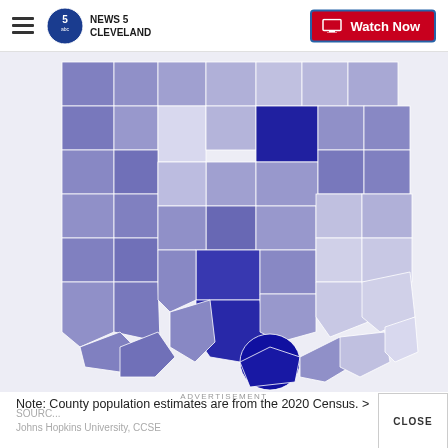NEWS 5 CLEVELAND | Watch Now
[Figure (map): Choropleth map of Ohio and surrounding region showing county population estimates shaded in varying intensities of purple-blue, with darker shades indicating higher population counties (e.g., Cuyahoga, Franklin, Hamilton). Data from 2020 Census.]
Note: County population estimates are from the 2020 Census. >
By DATAHE... Explore this da...
ADVERTISEMENT
SOURC...
Johns Hopkins University, CCSE